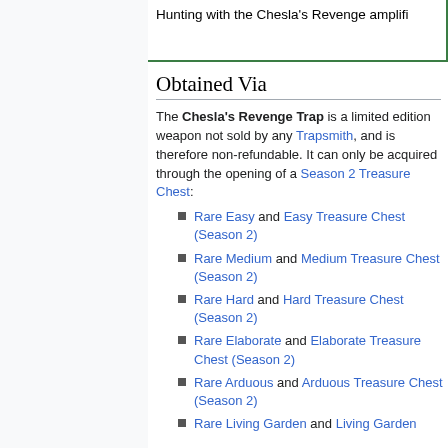Hunting with the Chesla's Revenge amplifi
Obtained Via
The Chesla's Revenge Trap is a limited edition weapon not sold by any Trapsmith, and is therefore non-refundable. It can only be acquired through the opening of a Season 2 Treasure Chest:
Rare Easy and Easy Treasure Chest (Season 2)
Rare Medium and Medium Treasure Chest (Season 2)
Rare Hard and Hard Treasure Chest (Season 2)
Rare Elaborate and Elaborate Treasure Chest (Season 2)
Rare Arduous and Arduous Treasure Chest (Season 2)
Rare Living Garden and Living Garden